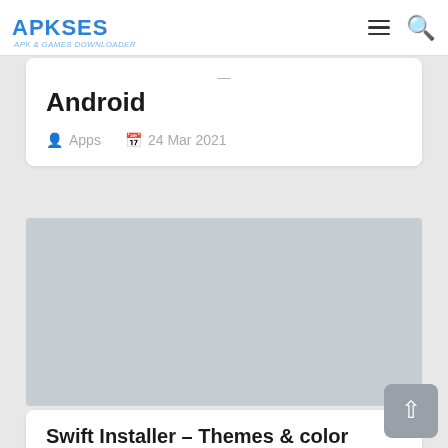APKSES - Apk & Games Downloader
Android
Apps  24 Mar 2021
[Figure (photo): Gray placeholder image for an article thumbnail]
Swift Installer – Themes & color